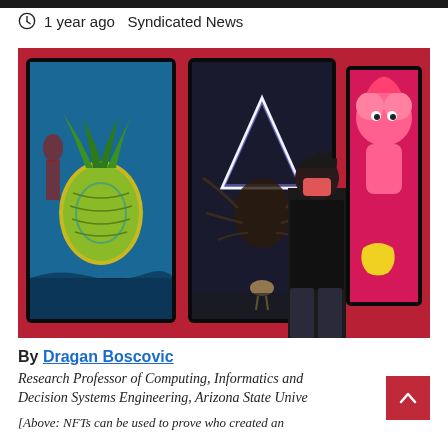1 year ago  Syndicated News
[Figure (photo): A person wearing a mask stands in front of large digital art screens mounted on a red wall in a gallery. The screens display vivid digital artworks including a surreal pineapple scene, a glowing triangular entity, and a colorful pink character. This represents an NFT art exhibition.]
By Dragan Boscovic
Research Professor of Computing, Informatics and Decision Systems Engineering, Arizona State Unive
[Above: NFTs can be used to prove who created and